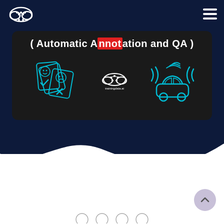[Figure (logo): White cloud logo with circuit/brain pattern lines, stylized AI company logo]
[Figure (infographic): Dark card showing '( Automatic Annotation and QA )' title with 'Annot' highlighted in red, and three icons below: sentiment card icons on left, a cloud logo in center (trainingdata.ai), and autonomous vehicle icon on right with wifi signals]
[Figure (illustration): Wave-shaped divider between dark navy background and white section at bottom of page]
[Figure (illustration): Back-to-top button (lavender circle with upward chevron) in bottom right]
[Figure (illustration): Partial row of icons at the very bottom of the page, partially cut off]